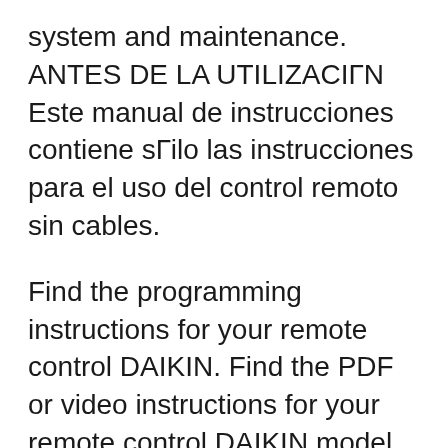system and maintenance. ANTES DE LA UTILIZACIГN Este manual de instrucciones contiene sГilo las instrucciones para el uso del control remoto sin cables.
Find the programming instructions for your remote control DAIKIN. Find the PDF or video instructions for your remote control DAIKIN model. Select the reference. When the ON timer is set, operation starts up to 1 hour before the time set to reach the setpoint. If the remote controller is operated during this time, the operation automatically stops. Restart operation using the remote controller. Did this solve your problem? If not, please contact your nearest